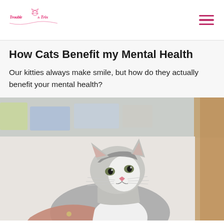Trouble & Trix logo and navigation menu
How Cats Benefit my Mental Health
Our kitties always make smile, but how do they actually benefit your mental health?
[Figure (photo): A gray and white cat looking upward, held by a person's hand, with a blurred indoor background featuring colorful shelves and a wooden wall panel.]